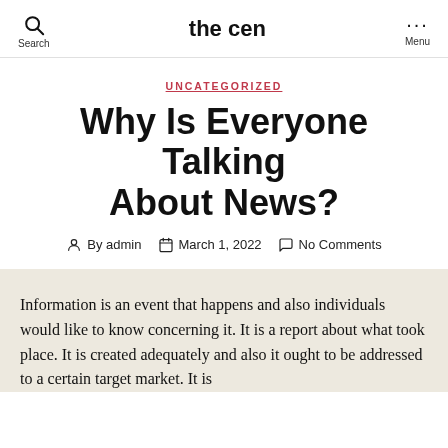the cen
UNCATEGORIZED
Why Is Everyone Talking About News?
By admin  March 1, 2022  No Comments
Information is an event that happens and also individuals would like to know concerning it. It is a report about what took place. It is created adequately and also it ought to be addressed to a certain target market. It is